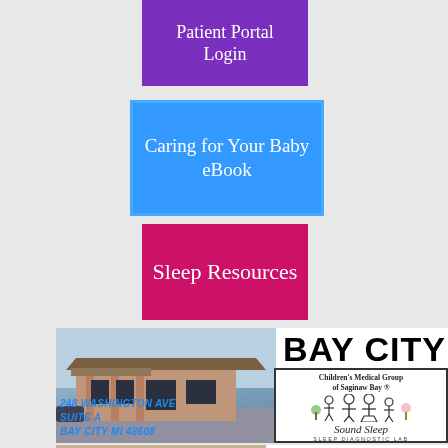[Figure (other): Purple button: Patient Portal Login]
[Figure (other): Blue button: Caring for Your Baby eBook]
[Figure (other): Pink/red button: Sleep Resources]
[Figure (photo): Bay City office building exterior photo with Children's Medical Group of Saginaw Bay sign and Sound Sleep Sleep Diagnostic Lab sign. Bold text: BAY CITY, phone 989.892.5664, address 248 Washington Ave Suite A Bay City MI 48608]
[Figure (photo): Saginaw section - bottom portion with building photo and SAGINAW text in bold]